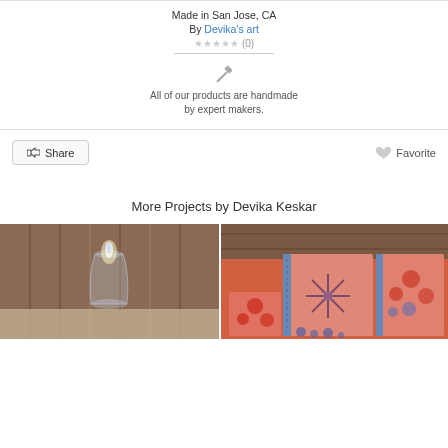Made in San Jose, CA
By Devika's art
★★★★★ (0)
All of our products are handmade by expert makers.
Share
Favorite
More Projects by Devika Keskar
[Figure (photo): Photo of a glass vase or candle holder on a wooden surface, with a glowing flame visible inside]
[Figure (photo): Photo of hand-painted art notebooks/journals with floral designs on pink/orange backgrounds]